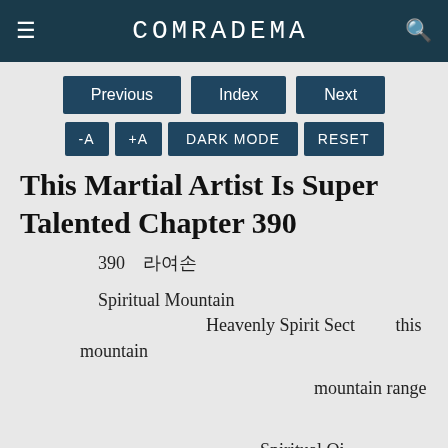COMRADEMA
Previous | Index | Next
-A  +A  DARK MODE  RESET
This Martial Artist Is Super Talented Chapter 390
제390화 화산파
Spiritual Mountain 화산은이름과같이Heavenly Spirit Sect 같은this mountain 화산을이름으로삼았다
이것은단순히산이름을따른게아니라mountain range 에
산속에흘러넘치는Spiritual Qi 때문이